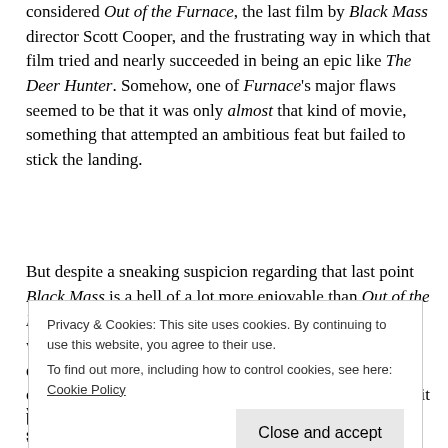considered Out of the Furnace, the last film by Black Mass director Scott Cooper, and the frustrating way in which that film tried and nearly succeeded in being an epic like The Deer Hunter. Somehow, one of Furnace's major flaws seemed to be that it was only almost that kind of movie, something that attempted an ambitious feat but failed to stick the landing.
But despite a sneaking suspicion regarding that last point Black Mass is a hell of a lot more enjoyable than Out of the Furnace or even Crazy Heart, Cooper's first two films which both touted incredible performances but misplaced directorial style, and that's probably because the other part of me viewed it as a Bostonian. The Globe's Ty Burr says it best in his review: "For worse and for worser, James "Whitey" Bulger is a son of
was already familiar with what was unfolding up on the screen.
Privacy & Cookies: This site uses cookies. By continuing to use this website, you agree to their use. To find out more, including how to control cookies, see here: Cookie Policy